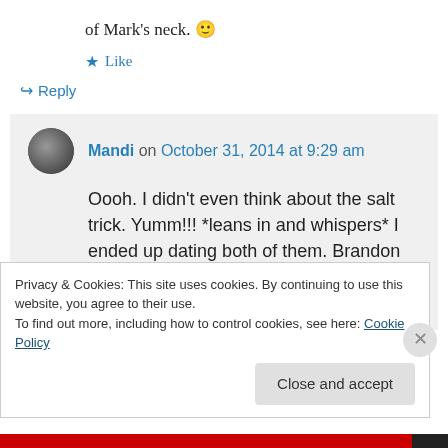of Mark's neck. 🙂
★ Like
↪ Reply
Mandi on October 31, 2014 at 9:29 am
Oooh. I didn't even think about the salt trick. Yumm!!! *leans in and whispers* I ended up dating both of them. Brandon got a three part story from that experience, but
Privacy & Cookies: This site uses cookies. By continuing to use this website, you agree to their use.
To find out more, including how to control cookies, see here: Cookie Policy
Close and accept